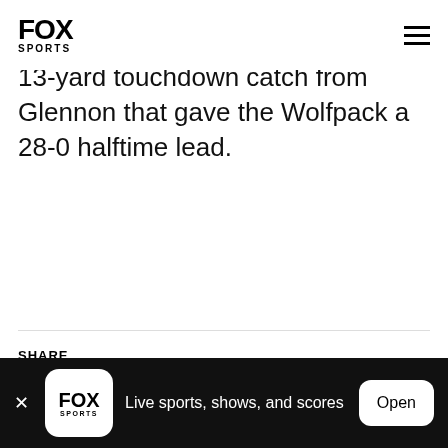FOX SPORTS
13-yard touchdown catch from Glennon that gave the Wolfpack a 28-0 halftime lead.
SHARE
[Figure (other): Social share buttons: Facebook (blue circle with f), Twitter (light blue circle with bird), Reddit (orange circle with Reddit alien), Link (dark circle with chain link icon)]
FOX SPORTS — Live sports, shows, and scores — Open